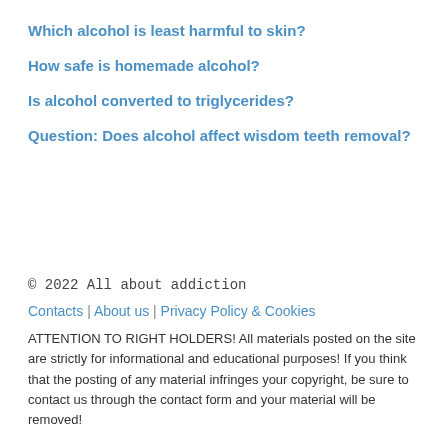Which alcohol is least harmful to skin?
How safe is homemade alcohol?
Is alcohol converted to triglycerides?
Question: Does alcohol affect wisdom teeth removal?
© 2022 All about addiction
Contacts | About us | Privacy Policy & Cookies
ATTENTION TO RIGHT HOLDERS! All materials posted on the site are strictly for informational and educational purposes! If you think that the posting of any material infringes your copyright, be sure to contact us through the contact form and your material will be removed!